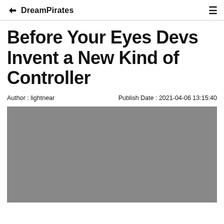DreamPirates
Before Your Eyes Devs Invent a New Kind of Controller
Author : lightnear    Publish Date : 2021-04-06 13:15:40
[Figure (photo): Gray placeholder image for article hero photo]